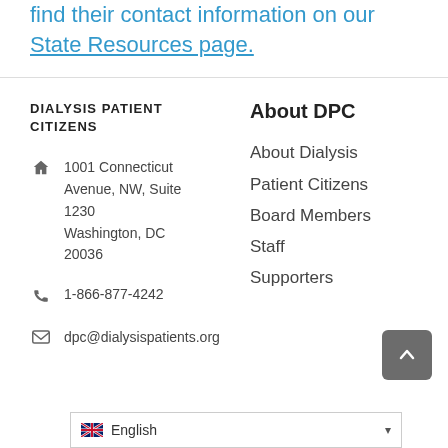find their contact information on our State Resources page.
DIALYSIS PATIENT CITIZENS
1001 Connecticut Avenue, NW, Suite 1230 Washington, DC 20036
1-866-877-4242
dpc@dialysispatients.org
About DPC
About Dialysis
Patient Citizens
Board Members
Staff
Supporters
English